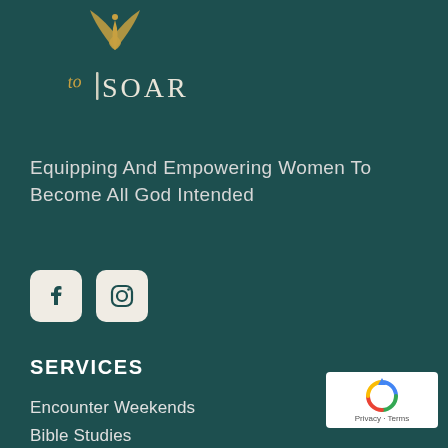[Figure (logo): To Soar logo with golden wing/leaf design above italic 'to SOAR' text in gold/white]
Equipping And Empowering Women To Become All God Intended
[Figure (other): Social media buttons: Facebook and Instagram icons on light beige rounded square backgrounds]
SERVICES
Encounter Weekends
Bible Studies
SERVICES
[Figure (other): reCAPTCHA badge with Privacy · Terms text]